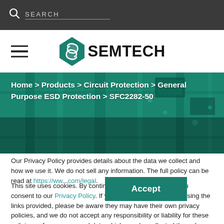SEARCH
[Figure (logo): Semtech logo with stylized S and SEMTECH wordmark]
[Figure (photo): Circuit board hero image with teal/green color overlay and breadcrumb navigation: Home > Products > Circuit Protection > General Purpose ESD Protection > SFC2282-50]
Our Privacy Policy provides details about the data we collect and how we use it. We do not sell any information. The full policy can be read at https://www...com/legal.
This site uses cookies. By continuing to use our website, you consent to our Privacy Policy. If you access other websites using the links provided, please be aware they may have their own privacy policies, and we do not accept any responsibility or liability for these policies or for any personal data which may be collected through these sites. Please check these policies before you submit any personal information to these sites.